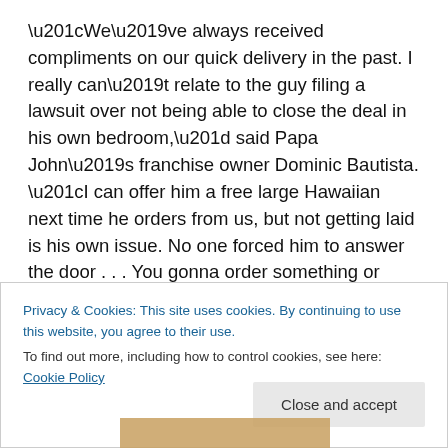“We’ve always received compliments on our quick delivery in the past. I really can’t relate to the guy filing a lawsuit over not being able to close the deal in his own bedroom,” said Papa John’s franchise owner Dominic Bautista. “I can offer him a free large Hawaiian next time he orders from us, but not getting laid is his own issue. No one forced him to answer the door . . . You gonna order something or what?”
By Santos’s own admission, his date for the night, who only wishes to be identified as “Emily,” did seem to be
Privacy & Cookies: This site uses cookies. By continuing to use this website, you agree to their use.
To find out more, including how to control cookies, see here: Cookie Policy
Close and accept